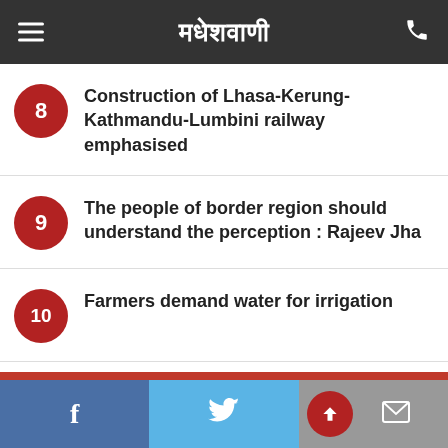मधेशवाणी
8 Construction of Lhasa-Kerung-Kathmandu-Lumbini railway emphasised
9 The people of border region should understand the perception : Rajeev Jha
10 Farmers demand water for irrigation
Social share bar: Facebook, Twitter, Mail/Up